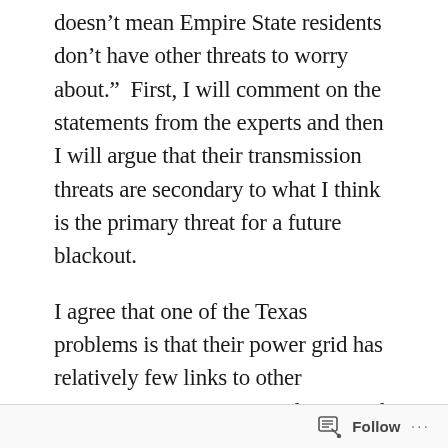doesn't mean Empire State residents don't have other threats to worry about.”  First, I will comment on the statements from the experts and then I will argue that their transmission threats are secondary to what I think is the primary threat for a future blackout.
I agree that one of the Texas problems is that their power grid has relatively few links to other transmission systems.  Karlin quoted Luigi Vanfretti, a professor of electrical engineering at Rensselaer Polytechnic Institute, who said “It’s about the ability to route the power”.  In this line of thought, if one
Follow ···